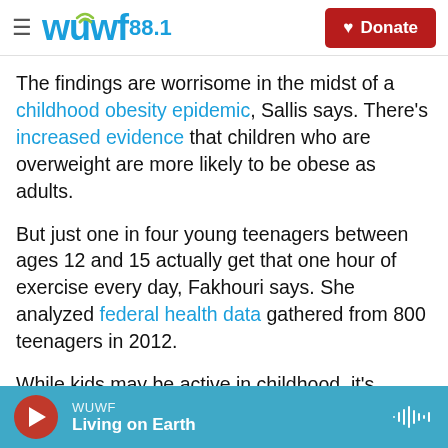WUWF 88.1 / Donate
The findings are worrisome in the midst of a childhood obesity epidemic, Sallis says. There's increased evidence that children who are overweight are more likely to be obese as adults.
But just one in four young teenagers between ages 12 and 15 actually get that one hour of exercise every day, Fakhouri says. She analyzed federal health data gathered from 800 teenagers in 2012.
While kids may be active in childhood, it's typical to see a decline as they move into their teen years. "We know, for example, that sedentary behaviors
WUWF / Living on Earth